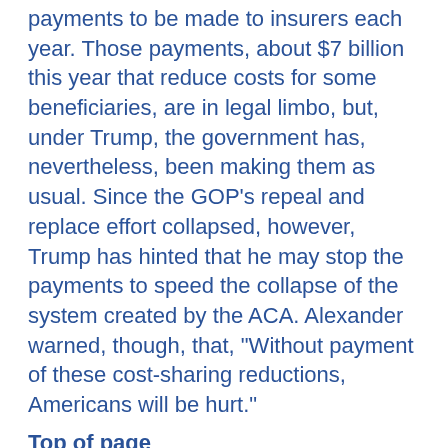payments to be made to insurers each year. Those payments, about $7 billion this year that reduce costs for some beneficiaries, are in legal limbo, but, under Trump, the government has, nevertheless, been making them as usual. Since the GOP’s repeal and replace effort collapsed, however, Trump has hinted that he may stop the payments to speed the collapse of the system created by the ACA. Alexander warned, though, that, “Without payment of these cost-sharing reductions, Americans will be hurt.”
Top of page
Congress Passes Legislation to Promote Generic Drug Competition
Congress has passed a Food and Drug Administration (FDA) funding bill that includes a